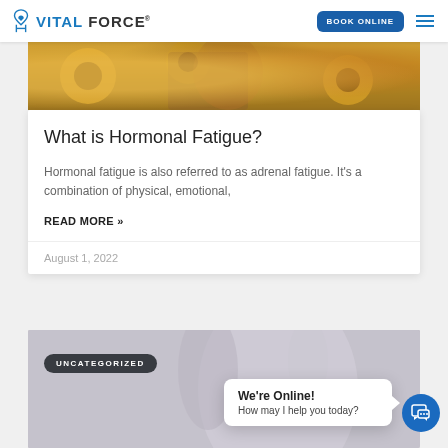VITAL FORCE | BOOK ONLINE
[Figure (photo): Partial view of a person among sunflowers, warm yellow and orange tones]
What is Hormonal Fatigue?
Hormonal fatigue is also referred to as adrenal fatigue. It's a combination of physical, emotional,
READ MORE »
August 1, 2022
[Figure (photo): Person with arms raised, light background, UNCATEGORIZED badge overlay]
We're Online!
How may I help you today?